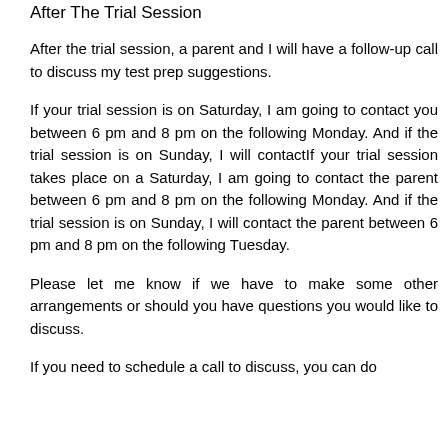After The Trial Session
After the trial session, a parent and I will have a follow-up call to discuss my test prep suggestions.
If your trial session is on Saturday, I am going to contact you between 6 pm and 8 pm on the following Monday. And if the trial session is on Sunday, I will contactIf your trial session takes place on a Saturday, I am going to contact the parent between 6 pm and 8 pm on the following Monday. And if the trial session is on Sunday, I will contact the parent between 6 pm and 8 pm on the following Tuesday.
Please let me know if we have to make some other arrangements or should you have questions you would like to discuss.
If you need to schedule a call to discuss, you can do